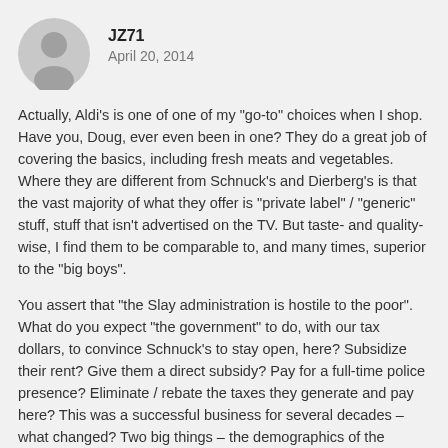[Figure (illustration): Circular grey avatar silhouette of a generic user profile icon]
JZ71
April 20, 2014
Actually, Aldi’s is one of one of my “go-to” choices when I shop. Have you, Doug, ever even been in one? They do a great job of covering the basics, including fresh meats and vegetables. Where they are different from Schnuck’s and Dierberg’s is that the vast majority of what they offer is “private label” / “generic” stuff, stuff that isn’t advertised on the TV. But taste- and quality-wise, I find them to be comparable to, and many times, superior to the “big boys”.
You assert that “the Slay administration is hostile to the poor”. What do you expect “the government” to do, with our tax dollars, to convince Schnuck’s to stay open, here? Subsidize their rent? Give them a direct subsidy? Pay for a full-time police presence? Eliminate / rebate the taxes they generate and pay here? This was a successful business for several decades – what changed? Two big things – the demographics of the neighborhood and the competition. 10-15 years ago, there were no Aldi’s, Family Dollar or Dollar General nearby – those